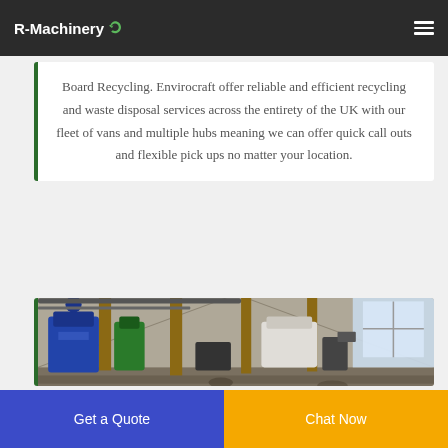R-Machinery
Board Recycling. Envirocraft offer reliable and efficient recycling and waste disposal services across the entirety of the UK with our fleet of vans and multiple hubs meaning we can offer quick call outs and flexible pick ups no matter your location.
[Figure (photo): Interior of an industrial warehouse/factory floor with machinery, metal columns, pipes and equipment visible throughout the space, with large windows letting in natural light on the right side.]
Get a Quote
Chat Now